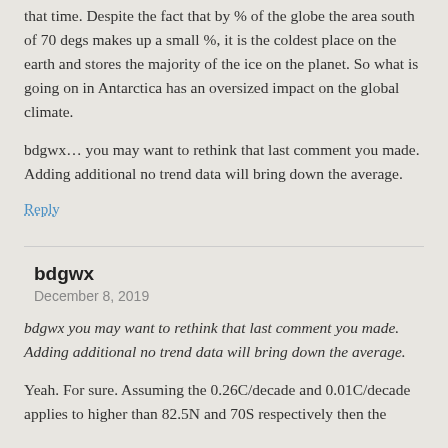that time. Despite the fact that by % of the globe the area south of 70 degs makes up a small %, it is the coldest place on the earth and stores the majority of the ice on the planet. So what is going on in Antarctica has an oversized impact on the global climate.
bdgwx… you may want to rethink that last comment you made. Adding additional no trend data will bring down the average.
Reply
bdgwx
December 8, 2019
bdgwx you may want to rethink that last comment you made. Adding additional no trend data will bring down the average.
Yeah. For sure. Assuming the 0.26C/decade and 0.01C/decade applies to higher than 82.5N and 70S respectively then the